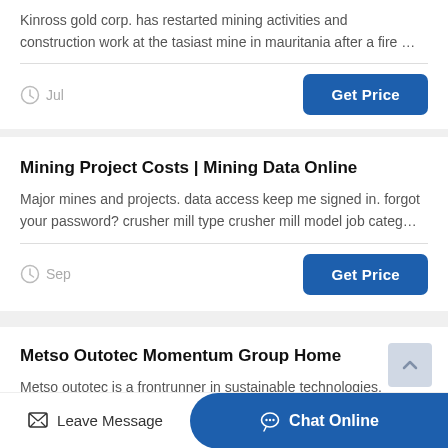Kinross gold corp. has restarted mining activities and construction work at the tasiast mine in mauritania after a fire …
Jul
Get Price
Mining Project Costs | Mining Data Online
Major mines and projects. data access keep me signed in. forgot your password? crusher mill type crusher mill model job categ…
Sep
Get Price
Metso Outotec Momentum Group Home
Metso outotec is a frontrunner in sustainable technologies,
Leave Message
Chat Online